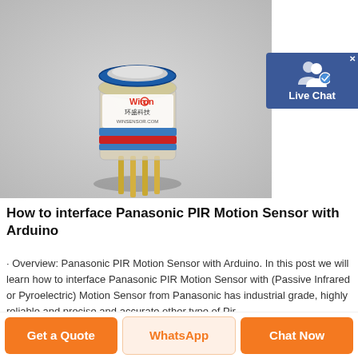[Figure (photo): A cylindrical Winsen brand gas sensor module with transparent plastic casing, blue top ring, red and blue stripe bands, gold pin connectors at the bottom, on a gray background. Logo reads 'Winson 环盛科技 WINSENSOR.COM']
[Figure (illustration): Live Chat widget icon — blue square with white silhouette icons of two people and a blue checkmark badge, with an X close button in the top right corner and text 'Live Chat' below the icon.]
How to interface Panasonic PIR Motion Sensor with Arduino
· Overview: Panasonic PIR Motion Sensor with Arduino. In this post we will learn how to interface Panasonic PIR Motion Sensor with (Passive Infrared or Pyroelectric) Motion Sensor from Panasonic has industrial grade, highly reliable and precise and accurate other type of Pir
Get a Quote
WhatsApp
Chat Now